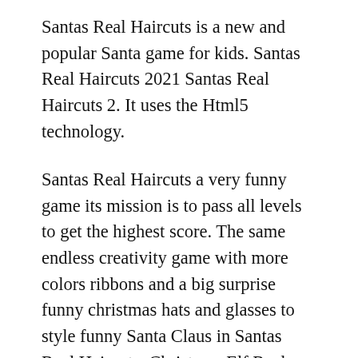Santas Real Haircuts is a new and popular Santa game for kids. Santas Real Haircuts 2021 Santas Real Haircuts 2. It uses the Html5 technology.
Santas Real Haircuts a very funny game its mission is to pass all levels to get the highest score. The same endless creativity game with more colors ribbons and a big surprise funny christmas hats and glasses to style funny Santa Claus in Santas Real Haircuts. Christmas Elf Real Haircuts at PrimaryGames Santas little helper wants a new haircut for the busiest night of the year.
Santas real haircuts is an online santa game for kids. Google serves cookies to analyse traffic to